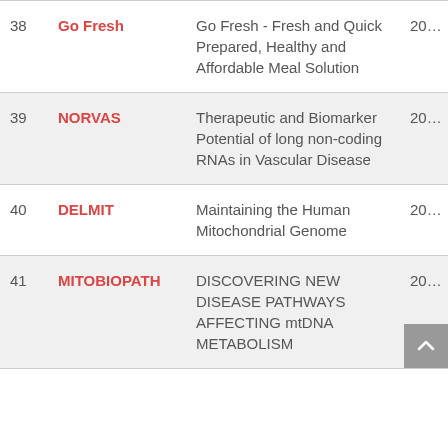| # | Acronym | Title | Year |
| --- | --- | --- | --- |
| 38 | Go Fresh | Go Fresh - Fresh and Quick Prepared, Healthy and Affordable Meal Solution | 20… |
| 39 | NORVAS | Therapeutic and Biomarker Potential of long non-coding RNAs in Vascular Disease | 20… |
| 40 | DELMIT | Maintaining the Human Mitochondrial Genome | 20… |
| 41 | MITOBIOPATH | DISCOVERING NEW DISEASE PATHWAYS AFFECTING mtDNA METABOLISM | 20… |